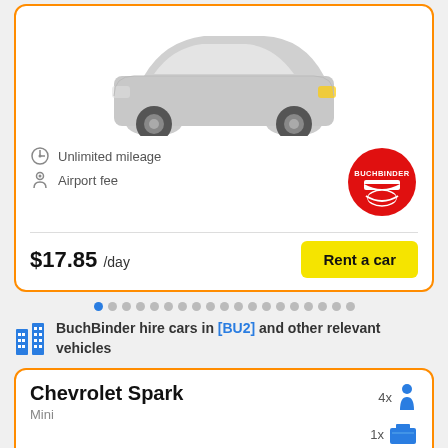[Figure (photo): Silver/grey car photo in the top card]
Unlimited mileage
Airport fee
[Figure (logo): Buchbinder red circular logo]
$17.85 /day
Rent a car
BuchBinder hire cars in [BU2] and other relevant vehicles
Chevrolet Spark
Mini
4x passengers
1x luggage
[Figure (photo): Grey compact Chevrolet Spark car photo, partially visible at bottom]